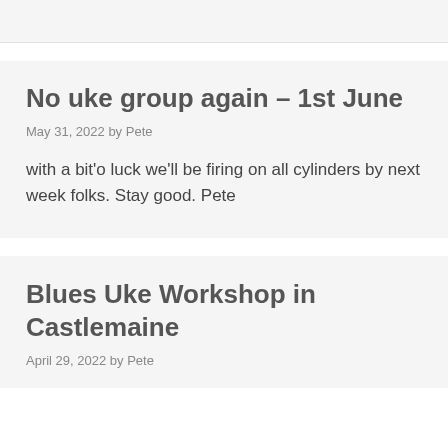No uke group again – 1st June
May 31, 2022 by Pete
with a bit'o luck we'll be firing on all cylinders by next week folks. Stay good. Pete
Blues Uke Workshop in Castlemaine
April 29, 2022 by Pete